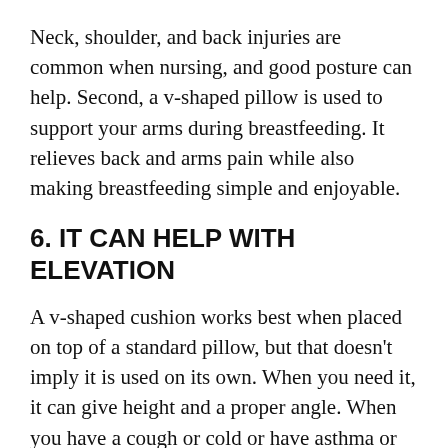Neck, shoulder, and back injuries are common when nursing, and good posture can help. Second, a v-shaped pillow is used to support your arms during breastfeeding. It relieves back and arms pain while also making breastfeeding simple and enjoyable.
6. IT CAN HELP WITH ELEVATION
A v-shaped cushion works best when placed on top of a standard pillow, but that doesn't imply it is used on its own. When you need it, it can give height and a proper angle. When you have a cough or cold or have asthma or bronchitis, it can also help with congestion. In addition, because the v-shaped cushion elevates their head, people with chronic